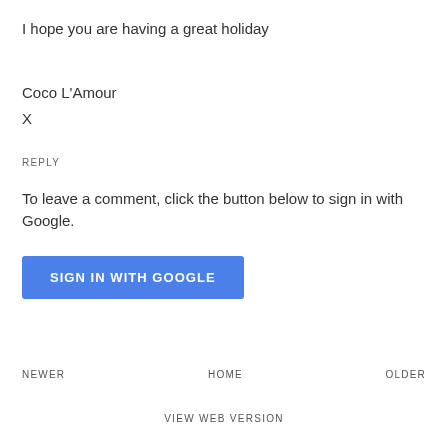I hope you are having a great holiday
Coco L'Amour
X
REPLY
To leave a comment, click the button below to sign in with Google.
SIGN IN WITH GOOGLE
NEWER   HOME   OLDER
VIEW WEB VERSION